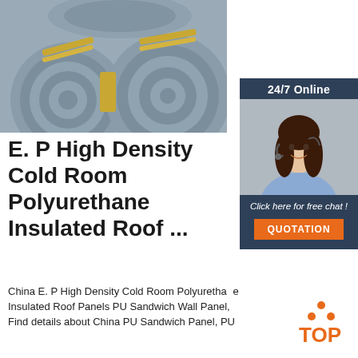[Figure (photo): Photo of large rolls/coils of metal (steel) stacked together, bound with yellow straps, industrial setting]
[Figure (photo): 24/7 Online chat widget with a smiling woman wearing a headset, dark blue background, with 'Click here for free chat!' text and an orange QUOTATION button]
E. P High Density Cold Room Polyurethane Insulated Roof ...
China E. P High Density Cold Room Polyurethane Insulated Roof Panels PU Sandwich Wall Panel, Find details about China PU Sandwich Panel, PU
[Figure (logo): TOP logo with orange triangle/chevron dots above the word TOP in orange]